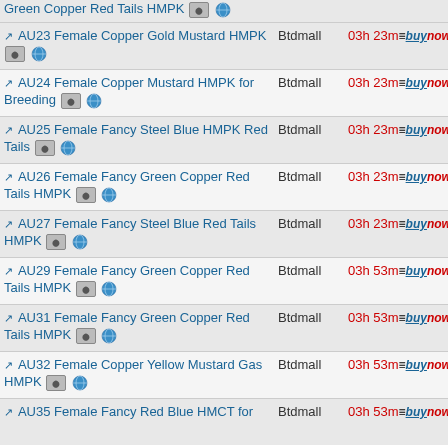Green Copper Red Tails HMPK
AU23 Female Copper Gold Mustard HMPK | Btdmall | 03h 23m | buynow | 20.00
AU24 Female Copper Mustard HMPK for Breeding | Btdmall | 03h 23m | buynow | 20.00
AU25 Female Fancy Steel Blue HMPK Red Tails | Btdmall | 03h 23m | buynow | 18.00
AU26 Female Fancy Green Copper Red Tails HMPK | Btdmall | 03h 23m | buynow | 18.00
AU27 Female Fancy Steel Blue Red Tails HMPK | Btdmall | 03h 23m | buynow | 18.00
AU29 Female Fancy Green Copper Red Tails HMPK | Btdmall | 03h 53m | buynow | 20.00
AU31 Female Fancy Green Copper Red Tails HMPK | Btdmall | 03h 53m | buynow | 20.00
AU32 Female Copper Yellow Mustard Gas HMPK | Btdmall | 03h 53m | buynow | 18.00
AU35 Female Fancy Red Blue HMCT for | Btdmall | 03h 53m | buynow | 18.00